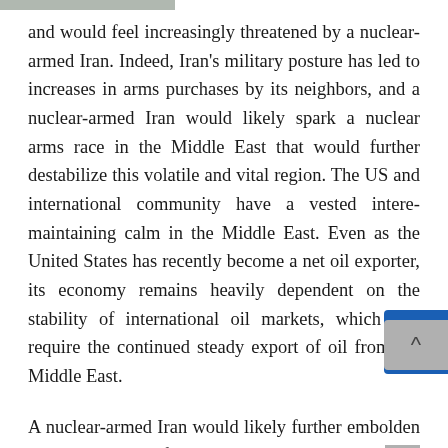and would feel increasingly threatened by a nuclear-armed Iran. Indeed, Iran's military posture has led to increases in arms purchases by its neighbors, and a nuclear-armed Iran would likely spark a nuclear arms race in the Middle East that would further destabilize this volatile and vital region. The US and international community have a vested interest in maintaining calm in the Middle East. Even as the United States has recently become a net oil exporter, its economy remains heavily dependent on the stability of international oil markets, which still require the continued steady export of oil from the Middle East.
A nuclear-armed Iran would likely further embolden Iran's aggressive foreign policy, including its deep ongoing involvement in Syria, its attacks against Israel via proxies including Hezbollah, Hamas and other